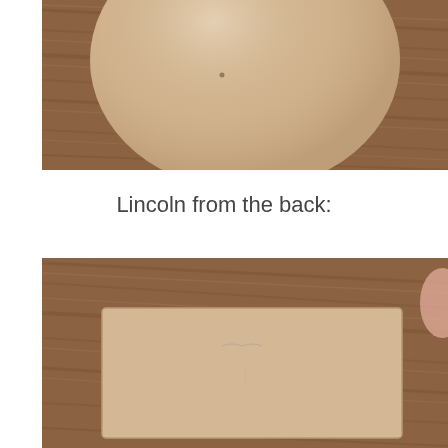[Figure (photo): Top-down view of a smooth, round beige/cream-colored clay ball on a wood-grain brown table surface. The ball is large and nearly fills the frame with a small dark speck visible on its surface.]
Lincoln from the back:
[Figure (photo): A flat rectangular beige/cream piece of clay lying on a wood-grain brown table surface. The back side of a sculpted clay head (Lincoln) is shown flat, with very faint pencil marks near the top center.]